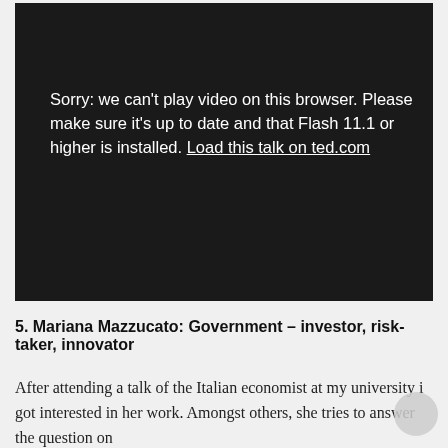[Figure (screenshot): Dark video player box showing an error message: 'Sorry: we can't play video on this browser. Please make sure it's up to date and that Flash 11.1 or higher is installed. Load this talk on ted.com']
5. Mariana Mazzucato: Government – investor, risk-taker, innovator
After attending a talk of the Italian economist at my university i got interested in her work. Amongst others, she tries to answer the question on